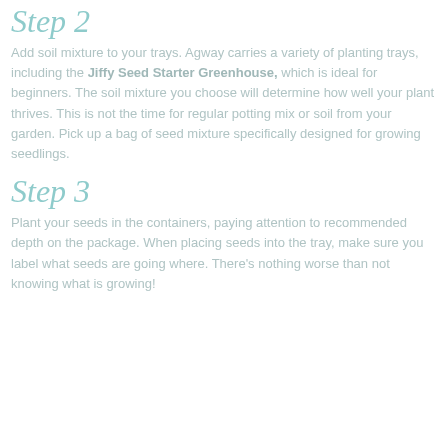Step 2
Add soil mixture to your trays. Agway carries a variety of planting trays, including the Jiffy Seed Starter Greenhouse, which is ideal for beginners. The soil mixture you choose will determine how well your plant thrives. This is not the time for regular potting mix or soil from your garden. Pick up a bag of seed mixture specifically designed for growing seedlings.
Step 3
Plant your seeds in the containers, paying attention to recommended depth on the package. When placing seeds into the tray, make sure you label what seeds are going where. There's nothing worse than not knowing what is growing!